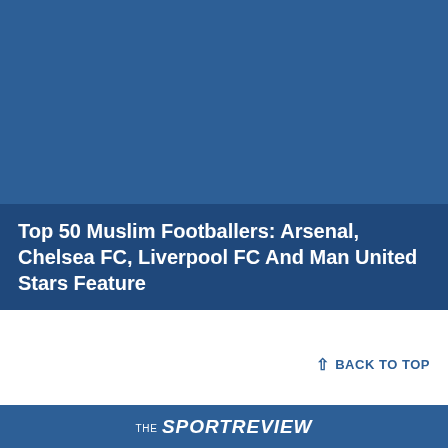[Figure (photo): Large blue background image (dark steel blue / navy color fill) occupying the top portion of the page, with a caption/title overlay at the bottom of the image area.]
Top 50 Muslim Footballers: Arsenal, Chelsea FC, Liverpool FC And Man United Stars Feature
BACK TO TOP
THE SPORT REVIEW